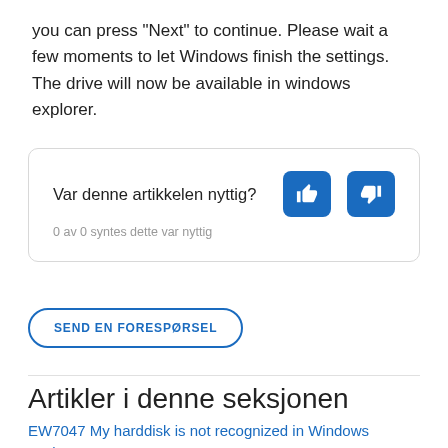you can press "Next" to continue. Please wait a few moments to let Windows finish the settings. The drive will now be available in windows explorer.
Var denne artikkelen nyttig?
0 av 0 syntes dette var nyttig
SEND EN FORESPØRSEL
Artikler i denne seksjonen
EW7047 My harddisk is not recognized in Windows explorer